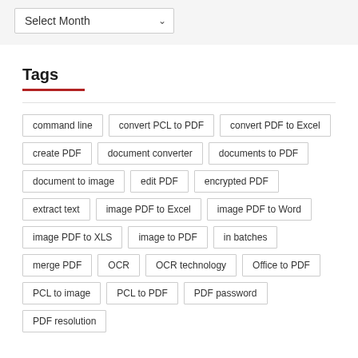[Figure (screenshot): A dropdown select input labeled 'Select Month' with a chevron arrow, on a light gray background]
Tags
command line
convert PCL to PDF
convert PDF to Excel
create PDF
document converter
documents to PDF
document to image
edit PDF
encrypted PDF
extract text
image PDF to Excel
image PDF to Word
image PDF to XLS
image to PDF
in batches
merge PDF
OCR
OCR technology
Office to PDF
PCL to image
PCL to PDF
PDF password
PDF resolution